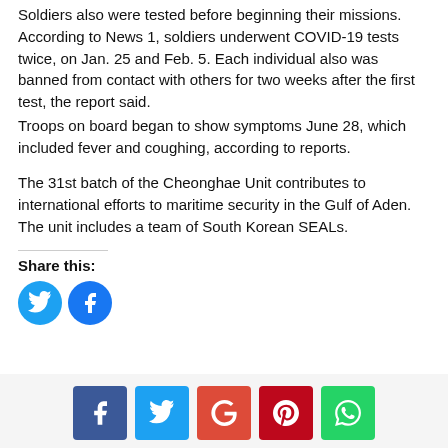Soldiers also were tested before beginning their missions. According to News 1, soldiers underwent COVID-19 tests twice, on Jan. 25 and Feb. 5. Each individual also was banned from contact with others for two weeks after the first test, the report said.
Troops on board began to show symptoms June 28, which included fever and coughing, according to reports.
The 31st batch of the Cheonghae Unit contributes to international efforts to maritime security in the Gulf of Aden. The unit includes a team of South Korean SEALs.
Share this:
[Figure (other): Social share buttons: Twitter (blue circle) and Facebook (blue circle)]
[Figure (other): Bottom social share buttons bar: Facebook (blue), Twitter (light blue), Google+ (red), Pinterest (dark red), WhatsApp (green)]